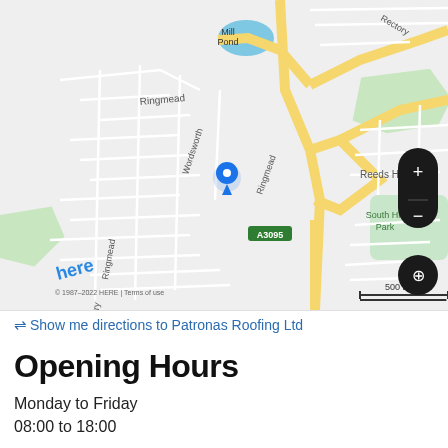[Figure (map): HERE map showing Ringmead area with streets including Wordsworth, Ringmead, Turnberry, Reeds Hill, Rectory, Mill Pond (blue lake), South Hill Park (green area), and road A3095. A blue location pin is placed on Ringmead. Map controls show + and - zoom buttons and a layers button. Scale bar shows 500 m. Copyright notice: © 1987–2022 HERE | Terms of use]
⇌ Show me directions to Patronas Roofing Ltd
Opening Hours
Monday to Friday
08:00 to 18:00